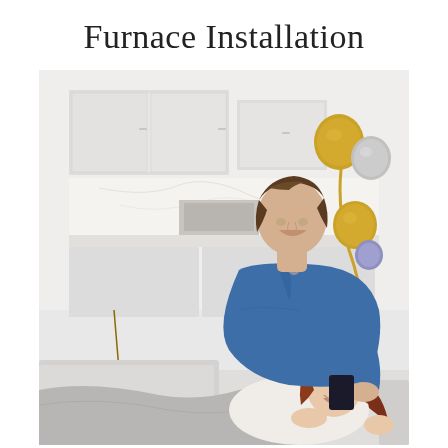Furnace Installation
[Figure (photo): A smiling couple relaxing together on a white sofa in a modern, bright kitchen/living space. The man, wearing a blue denim shirt, leans over a woman with red hair who is lying on the couch and laughing. The background shows white kitchen cabinets, marble-look countertops, and a stylish gold arc floor lamp with multiple globe lights.]